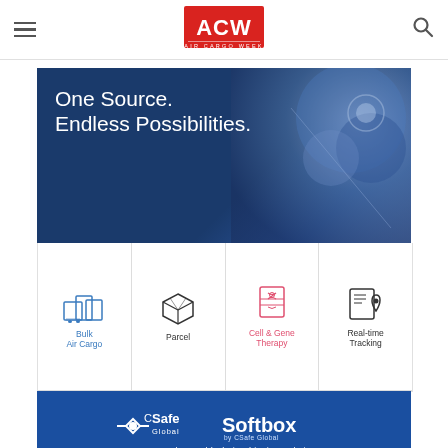ACW Air Cargo Week - navigation header with hamburger menu and search icon
[Figure (logo): ACW Air Cargo Week logo - red rectangle with white block letters ACW and subtitle AIR CARGO WEEK]
[Figure (infographic): CSafe Global / Softbox advertisement banner. Top section: dark navy blue background with photo overlay showing technology/medical imagery. Headline text: 'One Source. Endless Possibilities.' Middle section: white background with four icon panels: Bulk Air Cargo (blue icon of freight containers, blue text), Parcel (outline box icon, dark text), Cell & Gene Therapy (DNA/box icon, pink/red text), Real-time Tracking (document/pin icon, dark text). Bottom section: dark blue background with CSafe Global logo and Softbox by CSafe Global logo, tagline 'Your Complete Cold Chain Shipping Solution.']